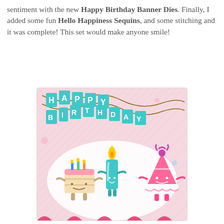sentiment with the new Happy Birthday Banner Dies. Finally, I added some fun Hello Happiness Sequins, and some stitching and it was complete! This set would make anyone smile!
[Figure (photo): A handmade birthday card featuring a pink diamond-pattern background, a teal 'HAPPY BIRTHDAY' banner die-cut, and three cute cartoon characters: a birthday cake slice with candles, a teal candle with a flame, and a pink party hat, all with smiley faces and arms. Pink swirl decorations at the bottom.]